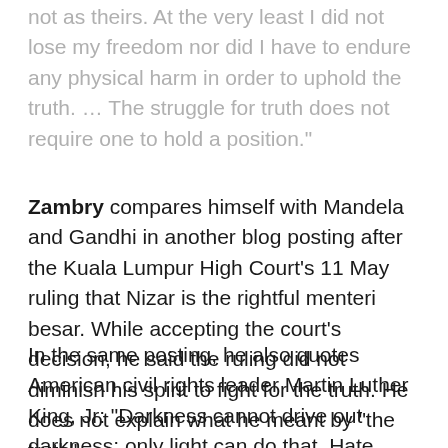not as theirs. At the very least I did not lose my freedom nor did I have to endure any physical harm in order to uphold the truth. … The struggle for truth does not require one to hold a position."
Zambry compares himself with Mandela and Gandhi in another blog posting after the Kuala Lumpur High Court's 11 May ruling that Nizar is the rightful menteri besar. While accepting the court's decision, he said the ruling did not diminish his spirit to fight for the truth. He does not explain what he meant by "the truth".
In the same posting, he also quotes American civil rights leader Martin Luther King, Jr: "Darkness cannot drive out darkness; only light can do that. Hate cannot drive out hate; only love can do that." (Source: Permulaan Sebuah